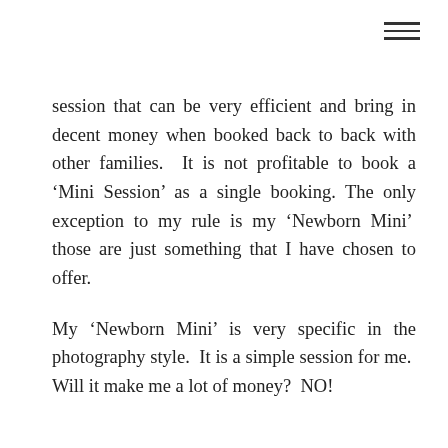≡
session that can be very efficient and bring in decent money when booked back to back with other families. It is not profitable to book a ‘Mini Session’ as a single booking. The only exception to my rule is my ‘Newborn Mini’ those are just something that I have chosen to offer.
My ‘Newborn Mini’ is very specific in the photography style. It is a simple session for me. Will it make me a lot of money? NO!